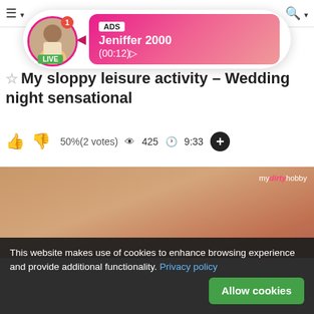☰ ▾   Ho...   kas   🔍 ▾
[Figure (screenshot): Ad overlay with circular profile photo of woman, LIVE badge, ADS label, name Jeniffer 2000, timestamp (00:12)]
☆ My sloppy leisure activity – Wedding night sensational
👍 👎 50%(2 votes) 👁 425 🕐 9:33 ⊕
[Figure (photo): Video thumbnail showing close-up skin/body image with mydirtyhobby watermark]
This website makes use of cookies to enhance browsing experience and provide additional functionality. Privacy policy   Allow cookies